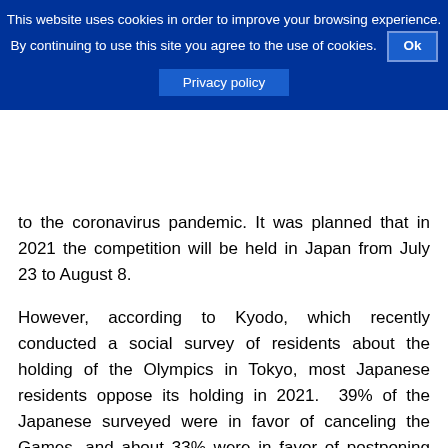This website uses cookies in order to improve your browsing experience. By continuing to use this site you agree to the use of cookies. Ok Privacy policy
to the coronavirus pandemic. It was planned that in 2021 the competition will be held in Japan from July 23 to August 8.
However, according to Kyodo, which recently conducted a social survey of residents about the holding of the Olympics in Tokyo, most Japanese residents oppose its holding in 2021.  39% of the Japanese surveyed were in favor of canceling the Games, and about 33% were in favor of postponing the Olympics. Only 24.5% of Japanese residents are positive about the fact that thousands of athletes from all over the world will come to the